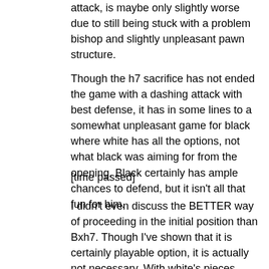attack, is maybe only slightly worse due to still being stuck with a problem bishop and slightly unpleasant pawn structure.
Though the h7 sacrifice has not ended the game with a dashing attack with best defense, it has in some lines to a somewhat unpleasant game for black where white has all the options, not what black was aiming for from the opening. Black certainly has ample chances to defend, but it isn't all that fun for him.
[time passed]
I didn't even discuss the BETTER way of proceeding in the initial position than Bxh7. Though I've shown that it is certainly playable option, it is actually not necessary. With white's pieces massed on the kingside, and black having played f6 in a state of disarray, it is actually unnecessary to sac on h7. What about simply Nh5? It seems like white's attack is already becoming close to irresistible. After Rf8, Qe2, g6